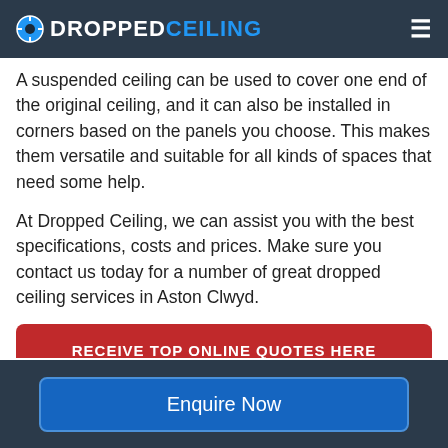DROPPEDCEILING
A suspended ceiling can be used to cover one end of the original ceiling, and it can also be installed in corners based on the panels you choose. This makes them versatile and suitable for all kinds of spaces that need some help.
At Dropped Ceiling, we can assist you with the best specifications, costs and prices. Make sure you contact us today for a number of great dropped ceiling services in Aston Clwyd.
RECEIVE TOP ONLINE QUOTES HERE
What Kind of Ceilings are
Enquire Now